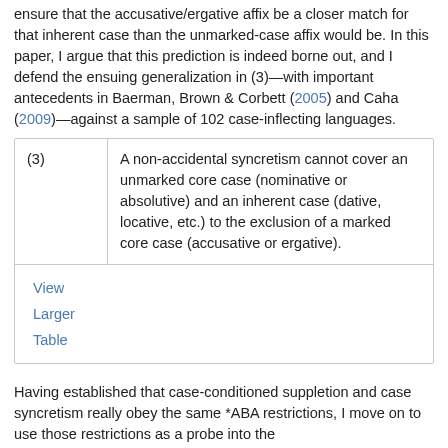ensure that the accusative/ergative affix be a closer match for that inherent case than the unmarked-case affix would be. In this paper, I argue that this prediction is indeed borne out, and I defend the ensuing generalization in (3)—with important antecedents in Baerman, Brown & Corbett (2005) and Caha (2009)—against a sample of 102 case-inflecting languages.
|  |  |
| --- | --- |
| (3) | A non-accidental syncretism cannot cover an unmarked core case (nominative or absolutive) and an inherent case (dative, locative, etc.) to the exclusion of a marked core case (accusative or ergative). |
|  | View
Larger
Table |
Having established that case-conditioned suppletion and case syncretism really obey the same *ABA restrictions, I move on to use those restrictions as a probe into the